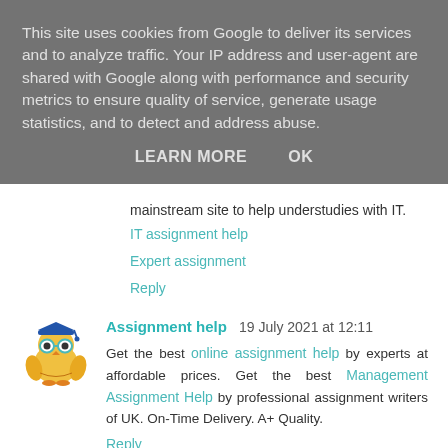This site uses cookies from Google to deliver its services and to analyze traffic. Your IP address and user-agent are shared with Google along with performance and security metrics to ensure quality of service, generate usage statistics, and to detect and address abuse.
LEARN MORE   OK
mainstream site to help understudies with IT.
IT assignment help
Expert assignment
Reply
[Figure (logo): Owl mascot logo with graduation cap and glasses]
Assignment help  19 July 2021 at 12:11
Get the best online assignment help by experts at affordable prices. Get the best Management Assignment Help by professional assignment writers of UK. On-Time Delivery. A+ Quality.
Reply